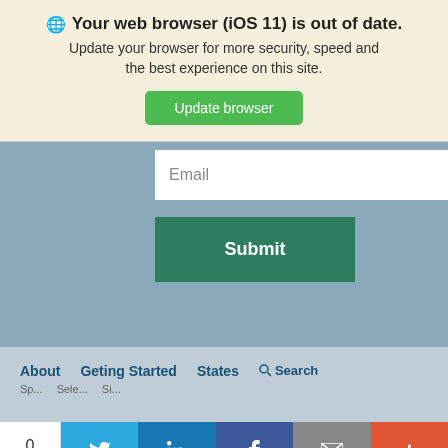🌐 Your web browser (iOS 11) is out of date. Update your browser for more security, speed and the best experience on this site.
Update browser
Email
Submit
About   Geting Started   States   Search
0 SHARES